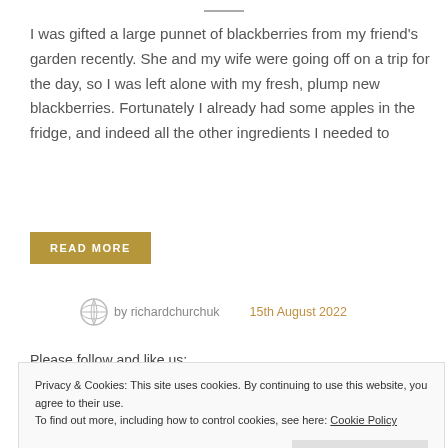I was gifted a large punnet of blackberries from my friend's garden recently. She and my wife were going off on a trip for the day, so I was left alone with my fresh, plump new blackberries. Fortunately I already had some apples in the fridge, and indeed all the other ingredients I needed to
READ MORE
by richardchurchuk   15th August 2022
Please follow and like us:
Privacy & Cookies: This site uses cookies. By continuing to use this website, you agree to their use.
To find out more, including how to control cookies, see here: Cookie Policy
Close and accept